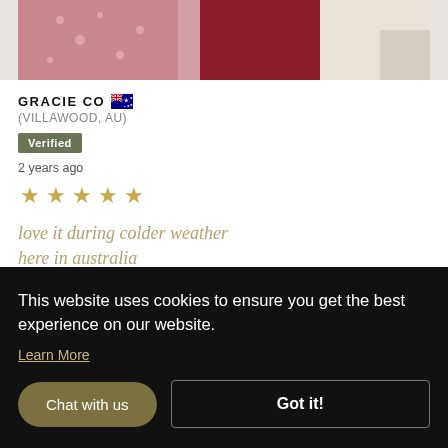[Figure (photo): Partial view of fabric/textile items in red and pink patterns on a light background]
GRACIE CO 🇦🇺
(VILLAWOOD, AU)
Verified
2 years ago
[Figure (other): 5 golden star rating icons]
love it during colder weather here in australia
This website uses cookies to ensure you get the best experience on our website.
Learn More
Chat with us
Got it!